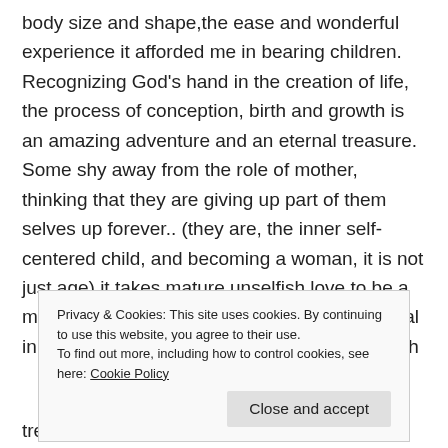body size and shape,the ease and wonderful experience it afforded me in bearing children. Recognizing God's hand in the creation of life, the process of conception, birth and growth is an amazing adventure and an eternal treasure. Some shy away from the role of mother, thinking that they are giving up part of them selves up forever.. (they are, the inner self-centered child, and becoming a woman, it is not just age).it takes mature unselfish love to be a mother... what I personally 'gave-up' is so trivial in comparison to what I received! 'Giving' birth
Privacy & Cookies: This site uses cookies. By continuing to use this website, you agree to their use.
To find out more, including how to control cookies, see here: Cookie Policy
Close and accept
treasure beyond compare.. indeed, measured on